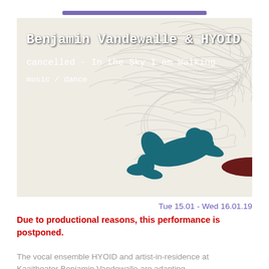[Figure (illustration): Event poster for Benjamin Vandewalle & HYOID - 'cancelled - In the Sky I am Walking', music/dance. Shows two silhouetted figures lying on the ground (one teal, one dark red/maroon with purple legs) surrounded by swirling pencil-sketch lines suggesting wind or energy.]
Tue 15.01 - Wed 16.01.19
Due to productional reasons, this performance is postponed.
The vocal ensemble HYOID and artist-in-residence at Kaaitheater Benjamin Vandewalle are adapting